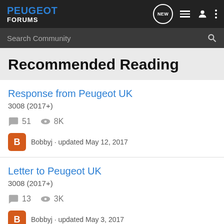PEUGEOT FORUMS
Search Community
Recommended Reading
Response from Peugeot UK
3008 (2017+)
51 comments · 8K views
Bobbyj · updated May 12, 2017
Letter to Peugeot UK
3008 (2017+)
13 comments · 3K views
Bobbyj · updated May 3, 2017